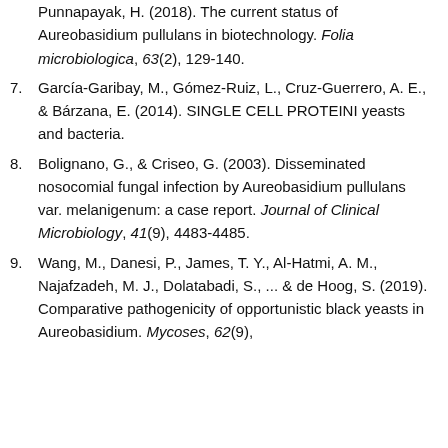Punnapayak, H. (2018). The current status of Aureobasidium pullulans in biotechnology. Folia microbiologica, 63(2), 129-140.
7. García-Garibay, M., Gómez-Ruiz, L., Cruz-Guerrero, A. E., & Bárzana, E. (2014). SINGLE CELL PROTEINI yeasts and bacteria.
8. Bolignano, G., & Criseo, G. (2003). Disseminated nosocomial fungal infection by Aureobasidium pullulans var. melanigenum: a case report. Journal of Clinical Microbiology, 41(9), 4483-4485.
9. Wang, M., Danesi, P., James, T. Y., Al-Hatmi, A. M., Najafzadeh, M. J., Dolatabadi, S., ... & de Hoog, S. (2019). Comparative pathogenicity of opportunistic black yeasts in Aureobasidium. Mycoses, 62(9),